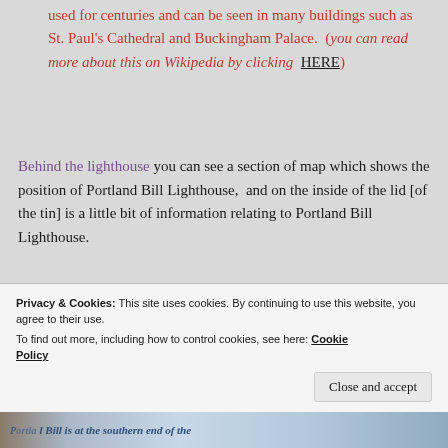used for centuries and can be seen in many buildings such as St. Paul's Cathedral and Buckingham Palace.  (you can read more about this on Wikipedia by clicking  HERE)
Behind the lighthouse you can see a section of map which shows the position of Portland Bill Lighthouse,  and on the inside of the lid [of the tin] is a little bit of information relating to Portland Bill Lighthouse.
Privacy & Cookies: This site uses cookies. By continuing to use this website, you agree to their use. To find out more, including how to control cookies, see here: Cookie Policy
Close and accept
[Figure (photo): Partial photo strip at the bottom showing a blue-toned image with italic text partially visible]